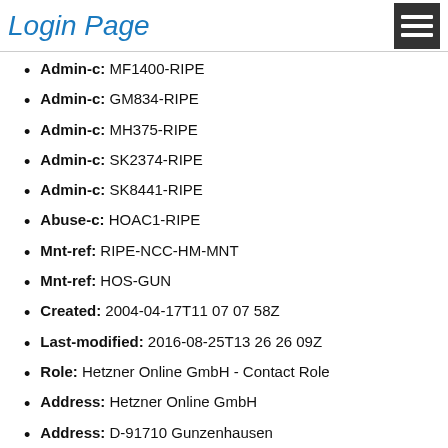Login Page
Admin-c: MF1400-RIPE
Admin-c: GM834-RIPE
Admin-c: MH375-RIPE
Admin-c: SK2374-RIPE
Admin-c: SK8441-RIPE
Abuse-c: HOAC1-RIPE
Mnt-ref: RIPE-NCC-HM-MNT
Mnt-ref: HOS-GUN
Created: 2004-04-17T11 07 07 58Z
Last-modified: 2016-08-25T13 26 26 09Z
Role: Hetzner Online GmbH - Contact Role
Address: Hetzner Online GmbH
Address: D-91710 Gunzenhausen
Address: Germany
Phone: +49 9831 505-0
Fax-no: +49 9831 505-3
Abuse-mailbox: abuse@hetzner.de